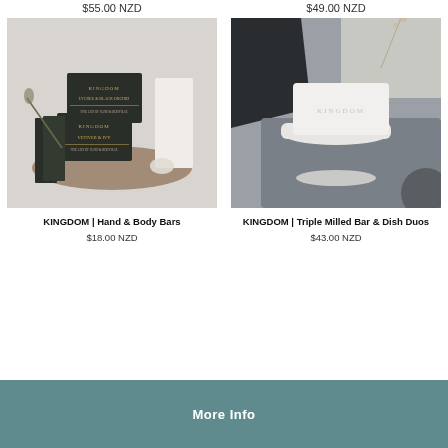$55.00 NZD
$49.00 NZD
[Figure (photo): Product photo of KINGDOM Hand & Body Bars - dark packaging with gold text showing KINGDOM LYCHEE & BLACK ORCHID and VETIVER & IVY bars arranged on a wooden slice with white candle and botanical elements]
KINGDOM | Hand & Body Bars
$18.00 NZD
[Figure (photo): Product photo of KINGDOM Triple Milled Bar & Dish Duos - white bar soap with embossed KINGDOM text resting on a soap dish, photographed on dark stone/rock surfaces]
KINGDOM | Triple Milled Bar & Dish Duos
$43.00 NZD
More Info